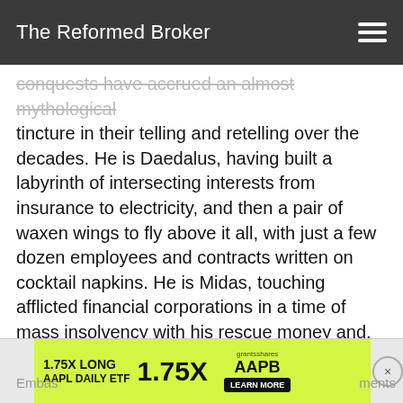The Reformed Broker
conquests have accrued an almost mythological tincture in their telling and retelling over the decades. He is Daedalus, having built a labyrinth of intersecting interests from insurance to electricity, and then a pair of waxen wings to fly above it all, with just a few dozen employees and contracts written on cocktail napkins. He is Midas, touching afflicted financial corporations in a time of mass insolvency with his rescue money and, more importantly, his imprimatur. One-eyed Odin sitting beneath the eaves of Yggdrasil, having paid a bodily price to have drunk from the Well of Wisdom. He is the Oracle, with tens of thousands braving the journey and the Omaha
Embas ... ments